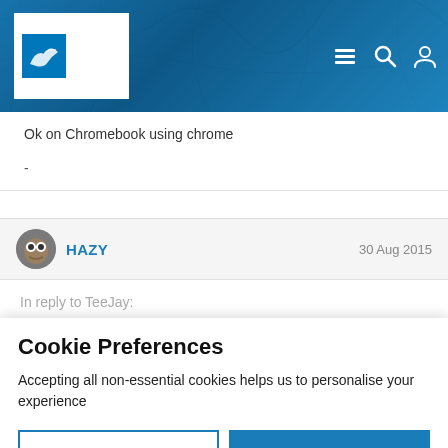[Figure (screenshot): RSPB website header with logo showing a bird silhouette, text 'giving nature a home' and 'rspb', with menu, search, and user icons on a blue textured background]
Ok on Chromebook using chrome
-
HAZY
30 Aug 2015
In reply to TeeJay:
Cookie Preferences
Accepting all non-essential cookies helps us to personalise your experience
EDIT SETTINGS
ACCEPT ALL